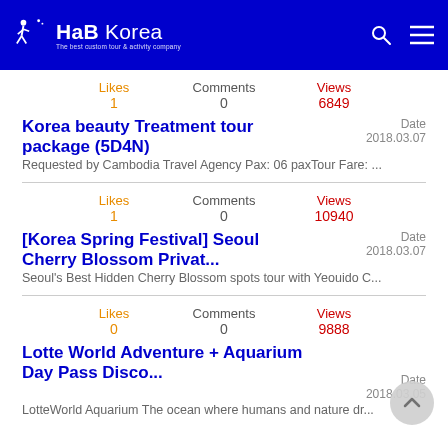HaB Korea - The best custom tour & activity company
Likes 1   Comments 0   Views 6849
Korea beauty Treatment tour package (5D4N)
Date 2018.03.07
Requested by Cambodia Travel Agency Pax: 06 paxTour Fare: ...
Likes 1   Comments 0   Views 10940
[Korea Spring Festival] Seoul Cherry Blossom Privat...
Date 2018.03.07
Seoul's Best Hidden Cherry Blossom spots tour with Yeouido C...
Likes 0   Comments 0   Views 9888
Lotte World Adventure + Aquarium Day Pass Disco...
Date 2018.03.05
LotteWorld Aquarium The ocean where humans and nature dr...